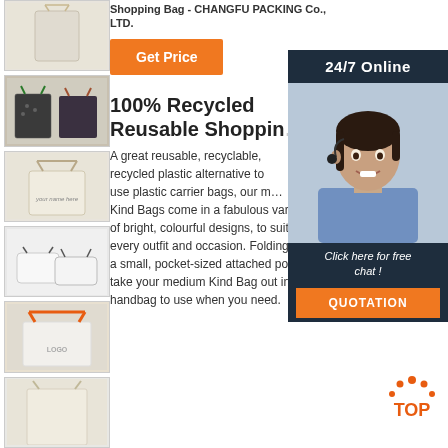[Figure (photo): Thumbnail 1: plain canvas drawstring bag]
[Figure (photo): Thumbnail 2: two patterned tote bags]
[Figure (photo): Thumbnail 3: plain cream canvas tote bag]
[Figure (photo): Thumbnail 4: white cosmetic/travel pouches]
[Figure (photo): Thumbnail 5: white tote bag with orange handles and LOGO text]
[Figure (photo): Thumbnail 6: partially visible bag]
Shopping Bag - CHANGFU PACKING Co., LTD.
Get Price
[Figure (photo): 24/7 Online customer support representative with headset]
Click here for free chat !
QUOTATION
100% Recycled Reusable Shoppin…
A great reusable, recyclable, recycled plastic alternative to use plastic carrier bags, our m… Kind Bags come in a fabulous variety of bright, colourful designs, to suit every outfit and occasion. Folding into a small, pocket-sized attached pouch, take your medium Kind Bag out in a handbag to use when you need.